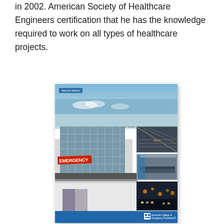in 2002. American Society of Healthcare Engineers certification that he has the knowledge required to work on all types of healthcare projects.
[Figure (photo): Book cover of 'Emergency Department Design: A Practical Guide to Planning for the Future' by Jon Huddy AIA, Second Edition. Published by American College of Emergency Physicians. Cover shows a modern emergency department building exterior with glass facade and EMERGENCY signage, plus three smaller inset photos of interior spaces.]